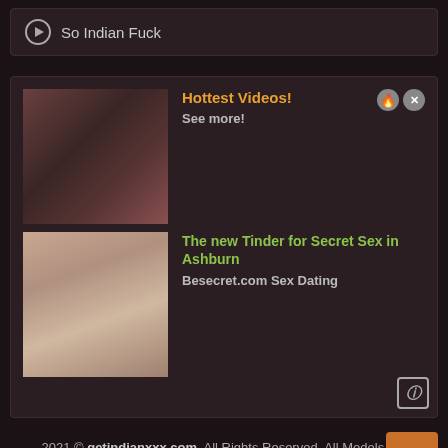So Indian Fuck
[Figure (screenshot): Advertisement banner with two thumbnail images and promotional text for adult content and dating site]
2021 © getindianxxx.com. All Rights Reserved. All Models are 18 y.o.